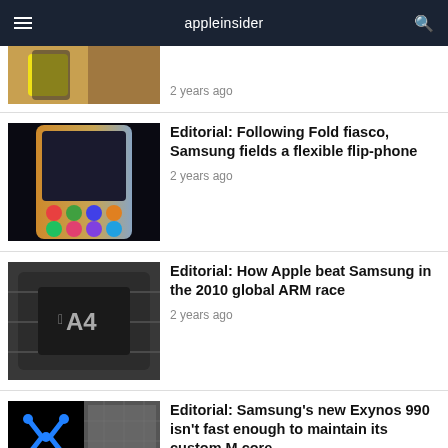appleinsider
[Figure (photo): Partial article thumbnail showing smartphones on wooden surface, clipped at top]
2 years ago
[Figure (photo): Samsung foldable/flexible phone with colorful app icons on a dark background]
Editorial: Following Fold fiasco, Samsung fields a flexible flip-phone
2 years ago
[Figure (photo): Close-up photo of Apple A4 chip with Apple logo and A4 text]
Editorial: How Apple beat Samsung in the 2010 global ARM race
2 years ago
[Figure (photo): Samsung Exynos logo (blue X icon) on black background beside circuit board close-up]
Editorial: Samsung's new Exynos 990 isn't fast enough to maintain its custom M core